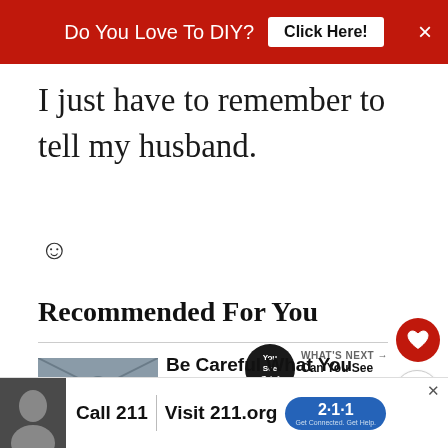Do You Love To DIY?  Click Here!  ×
I just have to remember to tell my husband.
😊
Recommended For You
WHAT'S NEXT → Can You See Grief?
Be Careful What You Wish
[Figure (photo): Thumbnail photo for recommended article]
[Figure (photo): Advertisement banner with person photo, Call 211, Visit 211.org with 2-1-1 logo]